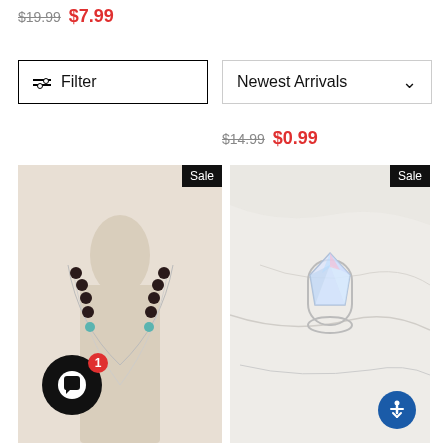$19.99  $7.99
Filter
Newest Arrivals
$14.99  $0.99
[Figure (photo): Beaded necklace on a mannequin with dark and turquoise beads on a silver chain, Sale badge in top-right corner]
[Figure (photo): Crystal/glass ring on a marble surface, Sale badge in top-right corner]